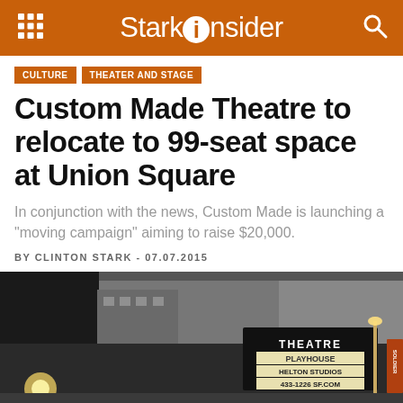StarkInsider
CULTURE  THEATER AND STAGE
Custom Made Theatre to relocate to 99-seat space at Union Square
In conjunction with the news, Custom Made is launching a "moving campaign" aiming to raise $20,000.
BY CLINTON STARK - 07.07.2015
[Figure (photo): Street-level photograph of a theatre building marquee reading 'THEATRE PLAYHOUSE HELTON STUDIOS 433-1226 SF.COM' with city buildings and a street lamp visible]